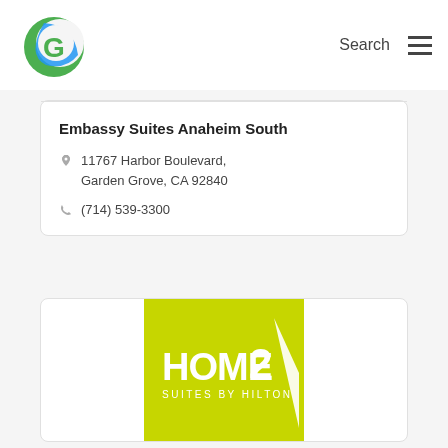[Figure (logo): Circular green and blue globe/G logo for a website navigation bar]
Search
Embassy Suites Anaheim South
11767 Harbor Boulevard, Garden Grove, CA 92840
(714) 539-3300
[Figure (logo): Home2 Suites by Hilton logo on lime green background with white stylized house/2 icon]